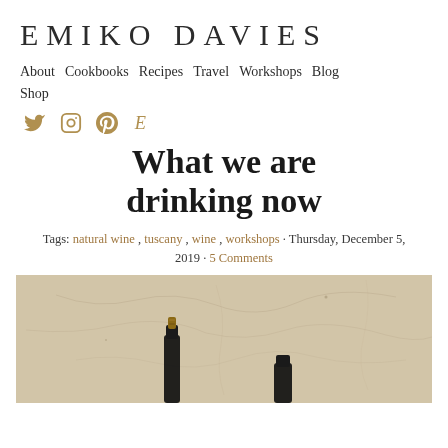EMIKO DAVIES
About  Cookbooks  Recipes  Travel  Workshops  Blog  Shop
[Figure (other): Social media icons: Twitter (bird), Instagram (camera outline), Pinterest (P), Etsy (E) in gold/tan color]
What we are drinking now
Tags: natural wine, tuscany, wine, workshops · Thursday, December 5, 2019 · 5 Comments
[Figure (photo): Two wine bottles lying on a textured stone/plaster background, one with a cork visible. Pale beige/cream stone surface with natural crack marks.]